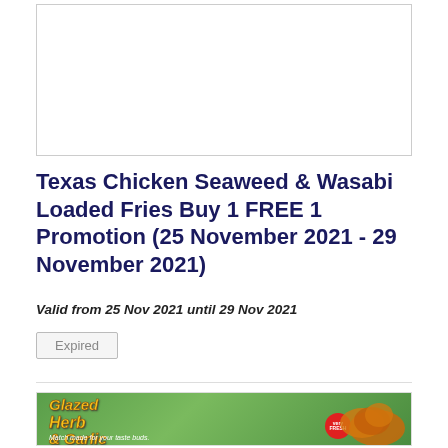[Figure (photo): Top image placeholder box, white background with light border]
Texas Chicken Seaweed & Wasabi Loaded Fries Buy 1 FREE 1 Promotion (25 November 2021 - 29 November 2021)
Valid from 25 Nov 2021 until 29 Nov 2021
Expired
[Figure (photo): Texas Chicken Glazed Herb & Garlic promotional image with fried chicken on green background, text reads 'Glazed Herb & Garlic' and 'Match made for your taste buds.' with a FRESH badge]